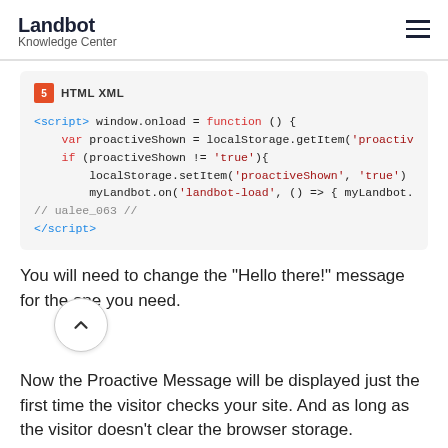Landbot Knowledge Center
[Figure (screenshot): HTML XML code block showing JavaScript snippet for proactive message with localStorage, using syntax highlighting]
You will need to change the "Hello there!" message for the one you need.
Now the Proactive Message will be displayed just the first time the visitor checks your site. And as long as the visitor doesn't clear the browser storage.